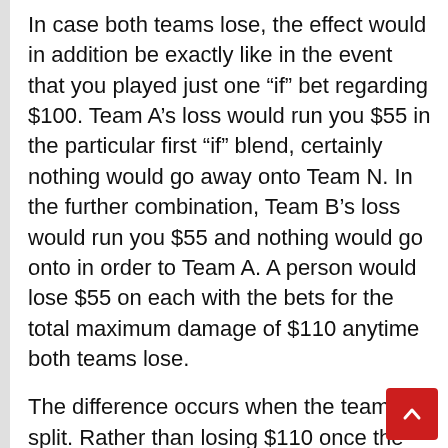In case both teams lose, the effect would in addition be exactly like in the event that you played just one “if” bet regarding $100. Team A’s loss would run you $55 in the particular first “if” blend, certainly nothing would go away onto Team N. In the further combination, Team B’s loss would run you $55 and nothing would go onto in order to Team A. A person would lose $55 on each with the bets for the total maximum damage of $110 anytime both teams lose.
The difference occurs when the teams split. Rather than losing $110 once the first team loses and the next wins, and $10,50 when the first group wins but the particular second loses, throughout the reverse you are going to lose